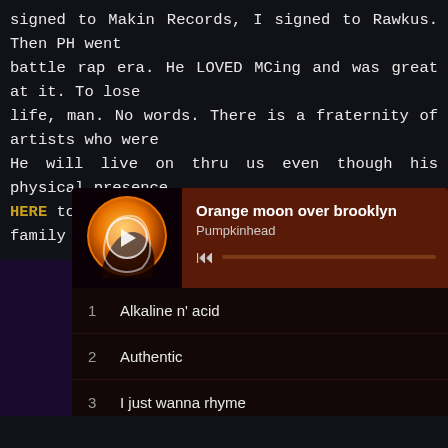signed to Makin Records, I signed to Rawkus. Then PH went into the battle rap era. He LOVED MCing and was great at it. To lose him in life, man. No words. There is a fraternity of artists who were around. He will live on thru us even though his physical presence HERE to consider making a donation to help his family and honor...
[Figure (screenshot): Music player widget showing 'Orange moon over brooklyn' by Pumpkinhead with album art (orange moon/face graphic), play button, skip control and progress bar. Below are playlist items: 1 Alkaline n' acid, 2 Authentic, 3 I just wanna rhyme, 4 Trifactor, 5 Grenades]
1  Alkaline n' acid
2  Authentic
3  I just wanna rhyme
4  Trifactor
5  Grenades